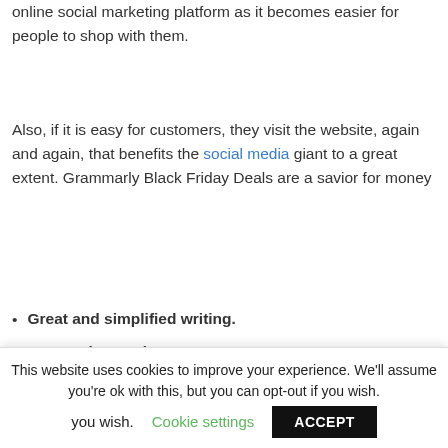online social marketing platform as it becomes easier for people to shop with them.
Also, if it is easy for customers, they visit the website, again and again, that benefits the social media giant to a great extent. Grammarly Black Friday Deals are a savior for money
Great and simplified writing.
Personal Tone detector.
Works beyond grammar and
This website uses cookies to improve your experience. We'll assume you're ok with this, but you can opt-out if you wish.
Cookie settings
ACCEPT